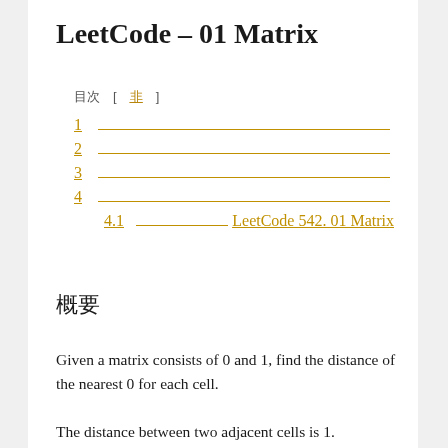LeetCode – 01 Matrix
目次 [ 非表示 ]
1
2
3
4
4.1   LeetCode 542. 01 Matrix
概要
Given a matrix consists of 0 and 1, find the distance of the nearest 0 for each cell.
The distance between two adjacent cells is 1.